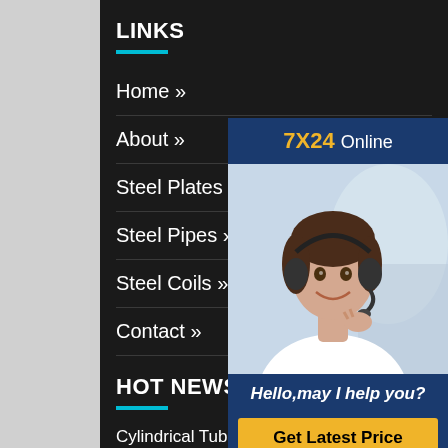LINKS
Home »
About »
Steel Plates »
Steel Pipes »
Steel Coils »
Contact »
[Figure (photo): Customer service representative wearing headset, smiling. Overlay shows '7X24 Online' header, 'Hello, may I help you?' text, and 'Get Latest Price' button.]
HOT NEWS
Cylindrical Tube Custom Cast Stainless Steel Cylinder Tube Hydraulic
pyrex tubes at thomas scientific
china High quality hot dip bs 1387